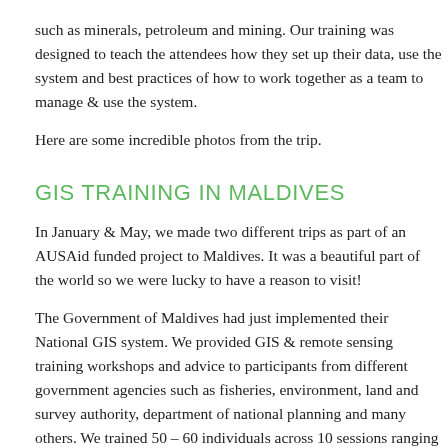such as minerals, petroleum and mining. Our training was designed to teach the attendees how they set up their data, use the system and best practices of how to work together as a team to manage & use the system.
Here are some incredible photos from the trip.
GIS TRAINING IN MALDIVES
In January & May, we made two different trips as part of an AUSAid funded project to Maldives. It was a beautiful part of the world so we were lucky to have a reason to visit!
The Government of Maldives had just implemented their National GIS system. We provided GIS & remote sensing training workshops and advice to participants from different government agencies such as fisheries, environment, land and survey authority, department of national planning and many others. We trained 50 – 60 individuals across 10 sessions ranging from environmental scientists to planners, surveyors and researchers.